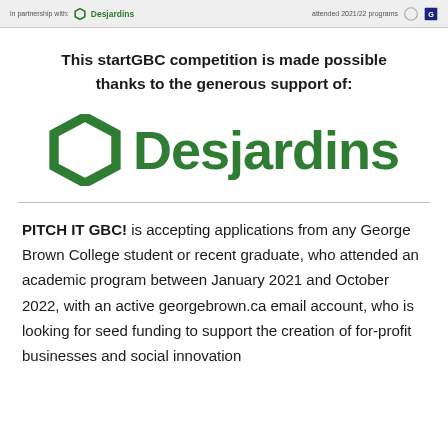in partnership with: Desjardins | attended 2021/22 programs
This startGBC competition is made possible thanks to the generous support of:
[Figure (logo): Desjardins logo: green hexagon outline icon followed by bold green text 'Desjardins']
PITCH IT GBC! is accepting applications from any George Brown College student or recent graduate, who attended an academic program between January 2021 and October 2022, with an active georgebrown.ca email account, who is looking for seed funding to support the creation of for-profit businesses and social innovation